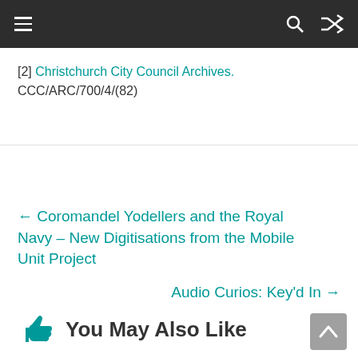Navigation bar with menu, search, and shuffle icons
[2] Christchurch City Council Archives. CCC/ARC/700/4/(82)
← Coromandel Yodellers and the Royal Navy – New Digitisations from the Mobile Unit Project
Audio Curios: Key'd In →
You May Also Like